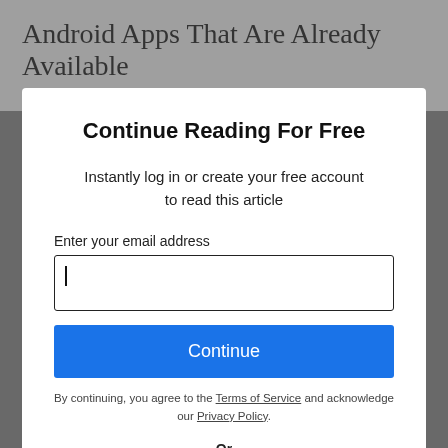Android Apps That Are Already Available
With the latest Nexus devices coming out and
Continue Reading For Free
Instantly log in or create your free account to read this article
Enter your email address
Continue
By continuing, you agree to the Terms of Service and acknowledge our Privacy Policy.
Or
Continue with Google